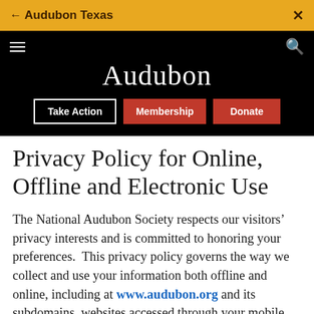← Audubon Texas  ×
[Figure (screenshot): Audubon website header with black background, Audubon logo in white serif font, three buttons: Take Action (outlined), Membership (red), Donate (red)]
Privacy Policy for Online, Offline and Electronic Use
The National Audubon Society respects our visitors' privacy interests and is committed to honoring your preferences.  This privacy policy governs the way we collect and use your information both offline and online, including at www.audubon.org and its subdomains, websites accessed through your mobile